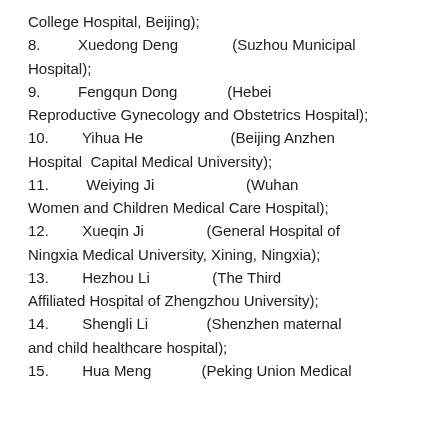College Hospital, Beijing);
8.      Xuedong Deng         (Suzhou Municipal Hospital);
9.      Fengqun Dong          (Hebei Reproductive Gynecology and Obstetrics Hospital);
10.     Yihua He              (Beijing Anzhen Hospital  Capital Medical University);
11.     Weiying Ji            (Wuhan Women and Children Medical Care Hospital);
12.     Xueqin Ji             (General Hospital of Ningxia Medical University, Xining, Ningxia);
13.     Hezhou Li             (The Third Affiliated Hospital of Zhengzhou University);
14.     Shengli Li            (Shenzhen maternal and child healthcare hospital);
15.     Hua Meng              (Peking Union Medical